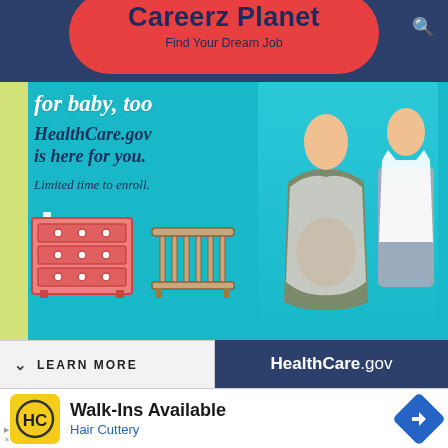Careerz Planet – Find Your Dream Job
[Figure (photo): HealthCare.gov advertisement showing a pregnant woman and man holding a baby onesie, with illustrated baby furniture (dresser, crib). Text reads: 'for baby, too HealthCare.gov is here for you. Limited time to enroll.' Bottom bar with LEARN MORE and HealthCare.gov logo.]
[Figure (photo): Walk-Ins Available advertisement for Hair Cuttery with yellow HC logo and navigation arrow icon.]